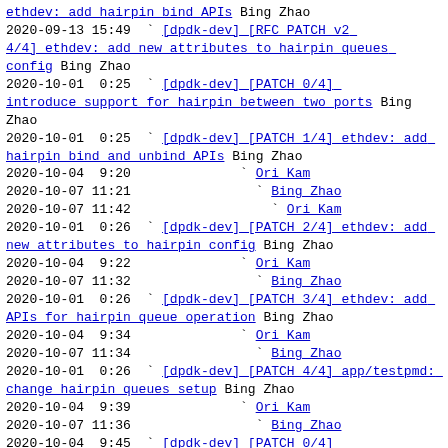ethdev: add hairpin bind APIs Bing Zhao
2020-09-13 15:49  ` [dpdk-dev] [RFC PATCH v2 4/4] ethdev: add new attributes to hairpin queues config Bing Zhao
2020-10-01  0:25  ` [dpdk-dev] [PATCH 0/4] introduce support for hairpin between two ports Bing Zhao
2020-10-01  0:25  ` [dpdk-dev] [PATCH 1/4] ethdev: add hairpin bind and unbind APIs Bing Zhao
2020-10-04  9:20              ` Ori Kam
2020-10-07 11:21                ` Bing Zhao
2020-10-07 11:42                  ` Ori Kam
2020-10-01  0:26  ` [dpdk-dev] [PATCH 2/4] ethdev: add new attributes to hairpin config Bing Zhao
2020-10-04  9:22              ` Ori Kam
2020-10-07 11:32                ` Bing Zhao
2020-10-01  0:26  ` [dpdk-dev] [PATCH 3/4] ethdev: add APIs for hairpin queue operation Bing Zhao
2020-10-04  9:34              ` Ori Kam
2020-10-07 11:34                ` Bing Zhao
2020-10-01  0:26  ` [dpdk-dev] [PATCH 4/4] app/testpmd: change hairpin queues setup Bing Zhao
2020-10-04  9:39              ` Ori Kam
2020-10-07 11:36                ` Bing Zhao
2020-10-04  9:45  ` [dpdk-dev] [PATCH 0/4] introduce support for hairpin between two ports Ori Kam
2020-10-08  8:51    ` [dpdk-dev] [PATCH v2 0/6] " Bing Zhao
2020-10-08  8:51    ` [dpdk-dev] [PATCH v2 1/6] ethdev: add hairpin bind and unbind APIs Bing Zhao
2020-10-08  9:07      ` Ori Kam